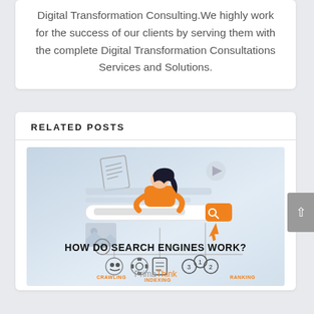Digital Transformation Consulting.We highly work for the success of our clients by serving them with the complete Digital Transformation Consultations Services and Solutions.
RELATED POSTS
[Figure (illustration): Illustration showing a woman sitting at a search bar with icons for Crawling, Indexing, Ranking (3 1 2), with text HOW DO SEARCH ENGINES WORK? and PrimaThink logo below.]